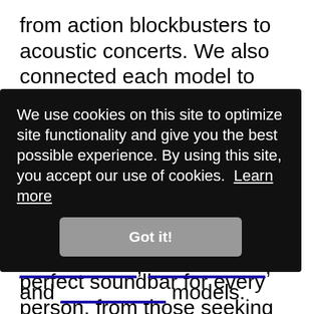from action blockbusters to acoustic concerts. We also connected each model to multiple TVs, streamed music to them from mobile devices via Bluetooth connections and over WiFi, and adjusted their EQs to assess their ease of use. In the end, we've found the perfect soundbar for every person, from those seeking audio excellence to folks who just want something better than the tinny
We use cookies on this site to optimize site functionality and give you the best possible experience. By using this site, you accept our use of cookies. Learn more
Got it!
can
r the
ver a
models.